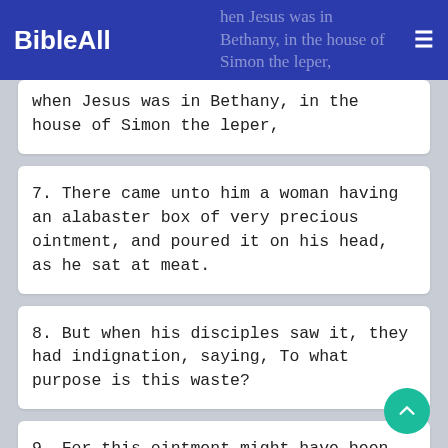BibleAll
when Jesus was in Bethany, in the house of Simon the leper,
7. There came unto him a woman having an alabaster box of very precious ointment, and poured it on his head, as he sat at meat.
8. But when his disciples saw it, they had indignation, saying, To what purpose is this waste?
9. For this ointment might have been sold for much, and given to the poor.